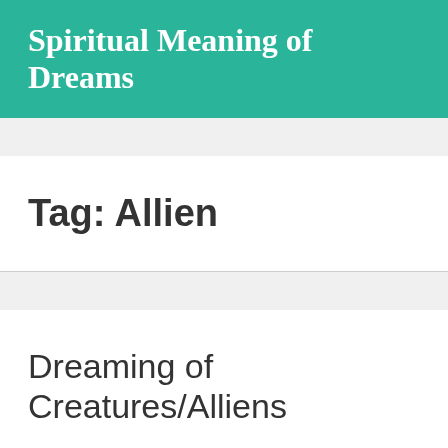Spiritual Meaning of Dreams
Tag: Allien
Dreaming of Creatures/Alliens